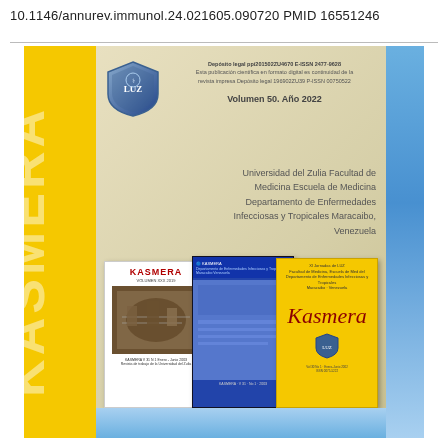10.1146/annurev.immunol.24.021605.090720 PMID 16551246
[Figure (illustration): Journal cover of KASMERA, Volume 50, Año 2022. Yellow left bar with KASMERA text vertically, beige/cream center with shield logo, institutional information block, Universidad del Zulia affiliation, and three historical covers of KASMERA journal at the bottom (white cover with photo, blue cover, yellow cover with italic Kasmera title).]